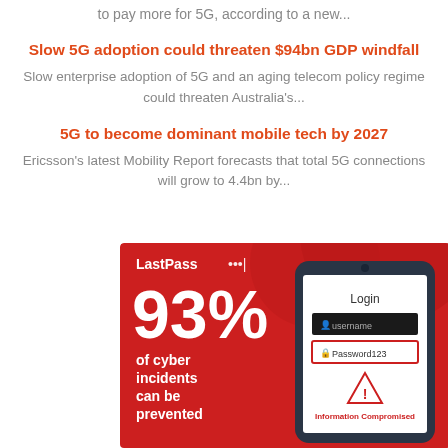to pay more for 5G, according to a new...
Slow 5G adoption could threaten $94bn GDP windfall
Slow enterprise adoption of 5G and an aging telecom policy regime could threaten Australia's...
5G to become dominant mobile tech by 2027
Ericsson's latest Mobility Report forecasts that total 5G connections will grow to 4.4bn by...
[Figure (infographic): LastPass infographic showing 93% of cyber incidents can be prevented, with a phone illustration showing a Login screen with a compromised password warning.]